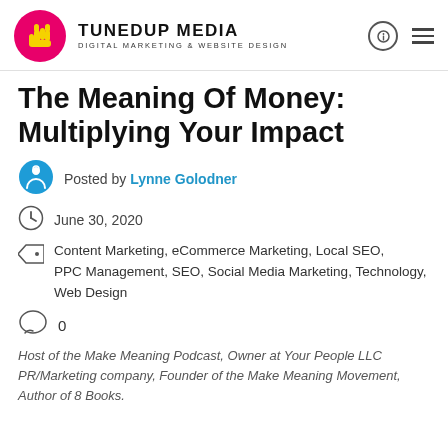TUNEDUP MEDIA DIGITAL MARKETING & WEBSITE DESIGN
The Meaning Of Money: Multiplying Your Impact
Posted by Lynne Golodner
June 30, 2020
Content Marketing, eCommerce Marketing, Local SEO, PPC Management, SEO, Social Media Marketing, Technology, Web Design
0
Host of the Make Meaning Podcast, Owner at Your People LLC PR/Marketing company, Founder of the Make Meaning Movement, Author of 8 Books.